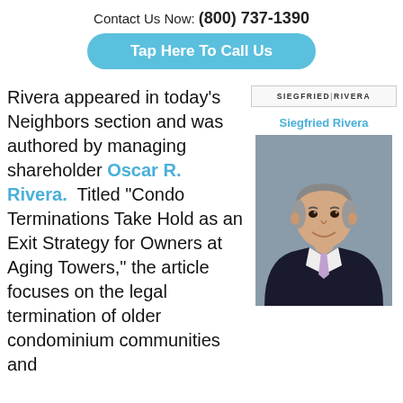Contact Us Now: (800) 737-1390
Tap Here To Call Us
Rivera appeared in today's Neighbors section and was authored by managing shareholder Oscar R. Rivera.  Titled “Condo Terminations Take Hold as an Exit Strategy for Owners at Aging Towers,” the article focuses on the legal termination of older condominium communities and
[Figure (logo): Siegfried Rivera law firm logo with text SIEGFRIED RIVERA]
Siegfried Rivera
[Figure (photo): Professional headshot of Oscar R. Rivera, a man in a dark suit with a light purple tie, gray hair, smiling against a gray background]